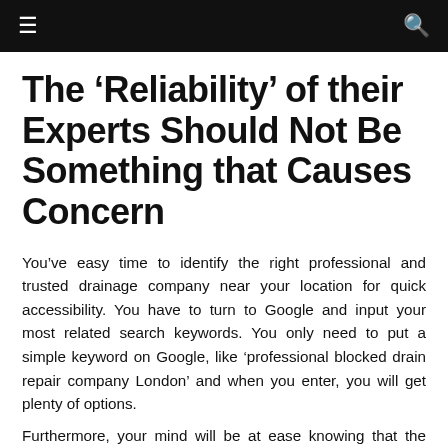≡  🔍
The ‘Reliability’ of their Experts Should Not Be Something that Causes Concern
You’ve easy time to identify the right professional and trusted drainage company near your location for quick accessibility. You have to turn to Google and input your most related search keywords. You only need to put a simple keyword on Google, like ‘professional blocked drain repair company London’ and when you enter, you will get plenty of options.
Furthermore, your mind will be at ease knowing that the drainage specialists that will pay you a visit and repair your drainage issues will be trustworthy when you choose a drainage fixing services of